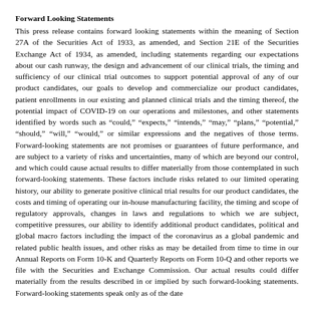Forward Looking Statements
This press release contains forward looking statements within the meaning of Section 27A of the Securities Act of 1933, as amended, and Section 21E of the Securities Exchange Act of 1934, as amended, including statements regarding our expectations about our cash runway, the design and advancement of our clinical trials, the timing and sufficiency of our clinical trial outcomes to support potential approval of any of our product candidates, our goals to develop and commercialize our product candidates, patient enrollments in our existing and planned clinical trials and the timing thereof, the potential impact of COVID-19 on our operations and milestones, and other statements identified by words such as “could,” “expects,” “intends,” “may,” “plans,” “potential,” “should,” “will,” “would,” or similar expressions and the negatives of those terms. Forward-looking statements are not promises or guarantees of future performance, and are subject to a variety of risks and uncertainties, many of which are beyond our control, and which could cause actual results to differ materially from those contemplated in such forward-looking statements. These factors include risks related to our limited operating history, our ability to generate positive clinical trial results for our product candidates, the costs and timing of operating our in-house manufacturing facility, the timing and scope of regulatory approvals, changes in laws and regulations to which we are subject, competitive pressures, our ability to identify additional product candidates, political and global macro factors including the impact of the coronavirus as a global pandemic and related public health issues, and other risks as may be detailed from time to time in our Annual Reports on Form 10-K and Quarterly Reports on Form 10-Q and other reports we file with the Securities and Exchange Commission. Our actual results could differ materially from the results described in or implied by such forward-looking statements. Forward-looking statements speak only as of the date